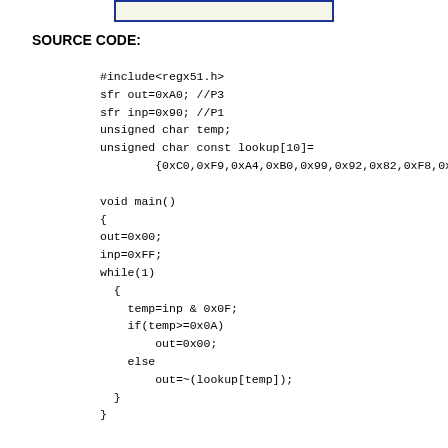[Figure (other): A small rectangular box with blue border at the top of the page, appearing to be a partially visible image or diagram element.]
SOURCE CODE:
#include<regx51.h>
sfr out=0xA0; //P3
sfr inp=0x90; //P1
unsigned char temp;
unsigned char const lookup[10]=
        {0xC0,0xF9,0xA4,0xB0,0x99,0x92,0x82,0xF8,0x80,0x90};

void main()
{
out=0x00;
inp=0xFF;
while(1)
  {
    temp=inp & 0x0F;
    if(temp>=0x0A)
        out=0x00;
    else
        out=~(lookup[temp]);
  }
}